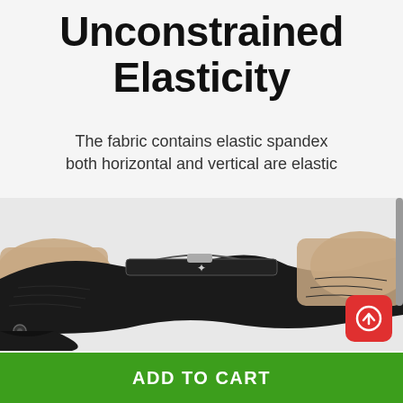Unconstrained Elasticity
The fabric contains elastic spandex both horizontal and vertical are elastic
[Figure (photo): Two hands stretching a black elastic fabric garment horizontally, demonstrating the elasticity of the material. A small brand logo is visible on the waistband area.]
ADD TO CART